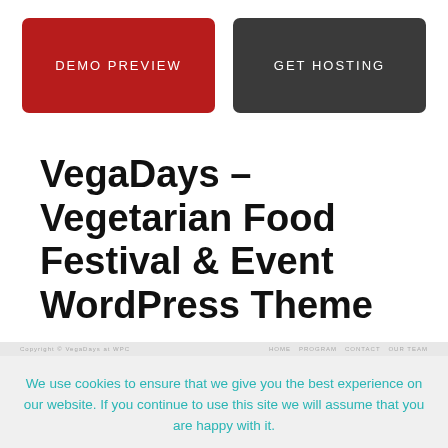[Figure (screenshot): Two buttons side by side: 'DEMO PREVIEW' (dark red/crimson, rounded rectangle) and 'GET HOSTING' (dark grey, rounded rectangle)]
VegaDays – Vegetarian Food Festival & Event WordPress Theme
We use cookies to ensure that we give you the best experience on our website. If you continue to use this site we will assume that you are happy with it.
[Figure (screenshot): Two teal/turquoise buttons: 'Ok' and 'No']